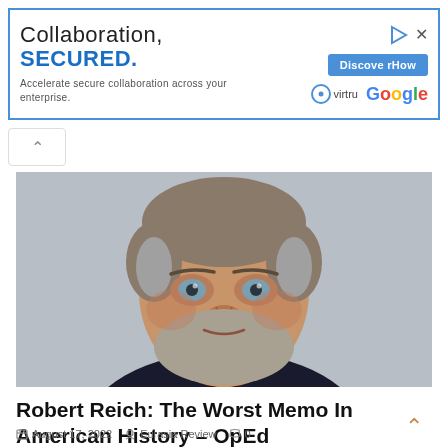[Figure (other): Advertisement banner: 'Collaboration, SECURED. Accelerate secure collaboration across your enterprise.' with Discover How button, Virtru and Google logos]
[Figure (photo): Headshot of a middle-aged man with gray and brown hair, blue eyes, light beard, wearing a dark blazer over a light blue shirt, against a light gray background — Robert Reich]
Robert Reich: The Worst Memo In American History – OpEd
August 17, 2022   Eurasia Review   0